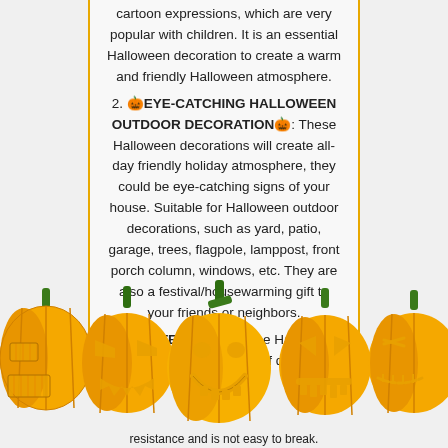cartoon expressions, which are very popular with children. It is an essential Halloween decoration to create a warm and friendly Halloween atmosphere.
2. 🎃EYE-CATCHING HALLOWEEN OUTDOOR DECORATION🎃: These Halloween decorations will create all-day friendly holiday atmosphere, they could be eye-catching signs of your house. Suitable for Halloween outdoor decorations, such as yard, patio, garage, trees, flagpole, lamppost, front porch column, windows, etc. They are also a festival/housewarming gift to your friends or neighbors.
3. 🎃MATERIAL🎃: These Hallowmas st hangi ade of d...
[Figure (illustration): Row of five orange jack-o-lantern pumpkins with green stems and glowing carved faces, various expressions, at bottom of page]
good nd w resistance and is not easy to break.